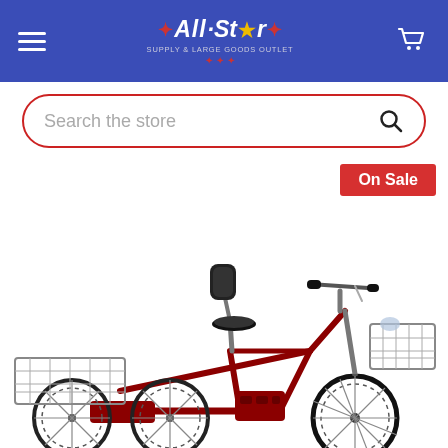All Star — store header with hamburger menu, logo, and cart icon
Search the store
On Sale
[Figure (photo): Red electric adult tricycle with front wire basket, rear wire cargo basket, black padded seat with backrest, and chrome handlebars. Product shown on white background.]